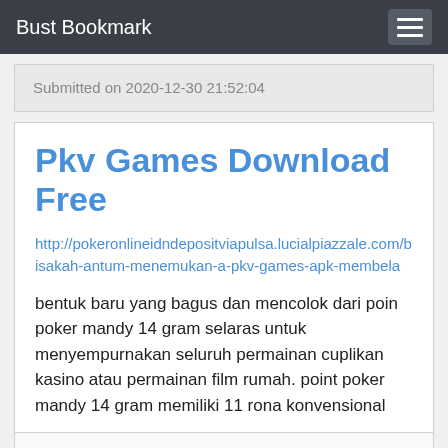Bust Bookmark
Submitted on 2020-12-30 21:52:04
Pkv Games Download Free
http://pokeronlineidndepositviapulsa.lucialpiazzale.com/bisakah-antum-menemukan-a-pkv-games-apk-membela
bentuk baru yang bagus dan mencolok dari poin poker mandy 14 gram selaras untuk menyempurnakan seluruh permainan cuplikan kasino atau permainan film rumah. point poker mandy 14 gram memiliki 11 rona konvensional